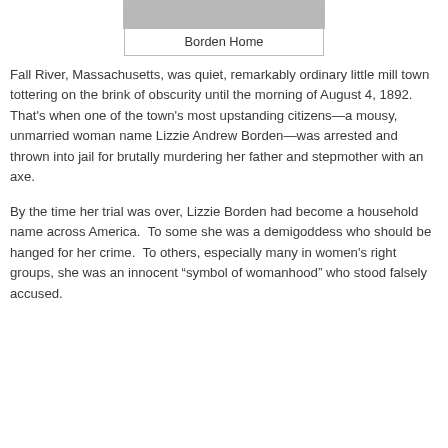[Figure (photo): Partial view of the Borden Home exterior, cropped at top of page]
Borden Home
Fall River, Massachusetts, was quiet, remarkably ordinary little mill town tottering on the brink of obscurity until the morning of August 4, 1892.  That's when one of the town's most upstanding citizens—a mousy, unmarried woman name Lizzie Andrew Borden—was arrested and thrown into jail for brutally murdering her father and stepmother with an axe.
By the time her trial was over, Lizzie Borden had become a household name across America.  To some she was a demigoddess who should be hanged for her crime.  To others, especially many in women's right groups, she was an innocent “symbol of womanhood” who stood falsely accused.